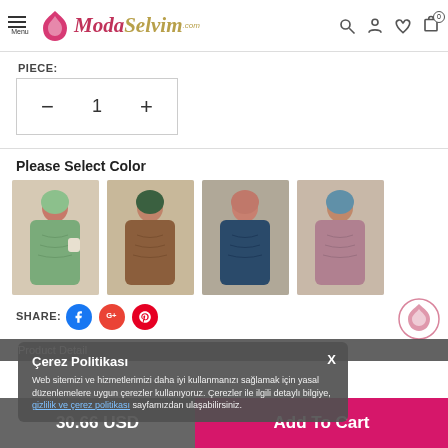ModaSelvim.com - Menu, Search, Account, Wishlist, Cart
PIECE:
- 1 +
Please Select Color
[Figure (photo): Four product color variants of a long floral dress worn by models wearing hijabs. Colors: sage green, brown, dark blue/navy, and dusty rose/mauve.]
SHARE:
Çerez Politikası
Web sitemizi ve hizmetlerimizi daha iyi kullanmanızı sağlamak için yasal düzenlemelere uygun çerezler kullanıyoruz. Çerezler ile ilgili detaylı bilgiye, gizlilik ve çerez politikası sayfamızdan ulaşabilirsiniz.
Product Detail
30.66 USD
Add To Cart